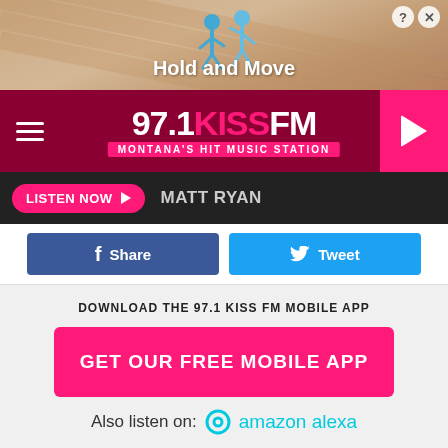[Figure (screenshot): Ad banner for 'Hold and Move' game with stick figures and tan/sand background]
[Figure (logo): 97.1 KISS FM Montana's Hit Music Station logo on dark red/maroon navigation bar with hamburger menu and pink play button]
LISTEN NOW  MATT RYAN
Share  Tweet
DOWNLOAD THE 97.1 KISS FM MOBILE APP
GET OUR FREE MOBILE APP
Also listen on:  amazon alexa
can handle that kind of pressure and just gotten over done. But that said the river is a lot better today than